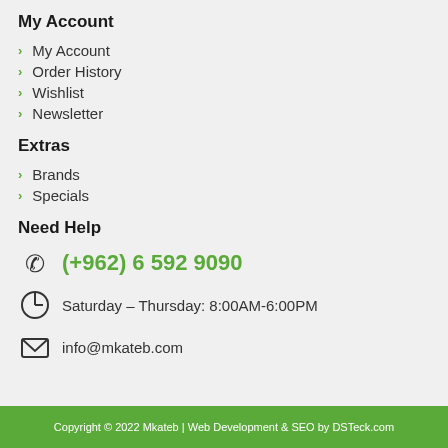My Account
My Account
Order History
Wishlist
Newsletter
Extras
Brands
Specials
Need Help
(+962) 6 592 9090
Saturday – Thursday: 8:00AM-6:00PM
info@mkateb.com
Copyright © 2022 Mkateb | Web Development & SEO by DSTeck.com